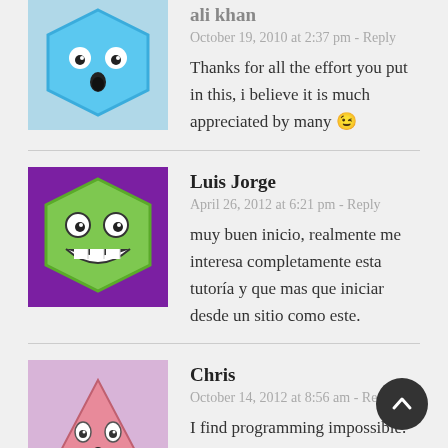[Figure (illustration): Blue hexagon avatar (partially visible at top)]
ali khan
October 19, 2010 at 2:37 pm - Reply
Thanks for all the effort you put in this, i believe it is much appreciated by many 😉
[Figure (illustration): Green hexagon face avatar on purple background]
Luis Jorge
April 26, 2012 at 6:21 pm - Reply
muy buen inicio, realmente me interesa completamente esta tutoría y que mas que iniciar desde un sitio como este.
[Figure (illustration): Pink triangle face avatar on lavender background]
Chris
October 14, 2012 at 8:56 am - Reply
I find programming impossible. So I can